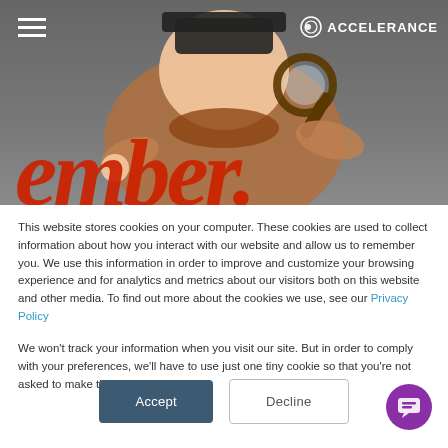[Figure (screenshot): Top navigation bar with dark gray background showing a hamburger menu icon on the left and the Accelerance logo on the right. Below it is a cartoon illustration of a detective character with a magnifying glass, and large red italic text reading 'ember' partially visible.]
This website stores cookies on your computer. These cookies are used to collect information about how you interact with our website and allow us to remember you. We use this information in order to improve and customize your browsing experience and for analytics and metrics about our visitors both on this website and other media. To find out more about the cookies we use, see our Privacy Policy
We won't track your information when you visit our site. But in order to comply with your preferences, we'll have to use just one tiny cookie so that you're not asked to make this choice again.